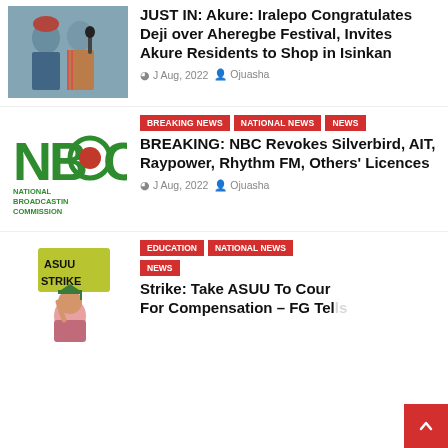[Figure (photo): Photo of two people in traditional attire at a festival]
JUST IN: Akure: Iralepo Congratulates Deji over Aheregbe Festival, Invites Akure Residents to Shop in Isinkan
J Aug, 2022   Ojuasha
[Figure (logo): NBC - National Broadcasting Commission green and red logo]
BREAKING NEWS   NATIONAL NEWS   NEWS
BREAKING: NBC Revokes Silverbird, AIT, Raypower, Rhythm FM, Others' Licences
J Aug, 2022   Ojuasha
[Figure (illustration): Cartoon illustration of a person wearing graduation cap holding an ASUU STRIKE sign]
EDUCATION   NATIONAL NEWS   NEWS
Strike: Take ASUU To Court For Compensation – FG Tells